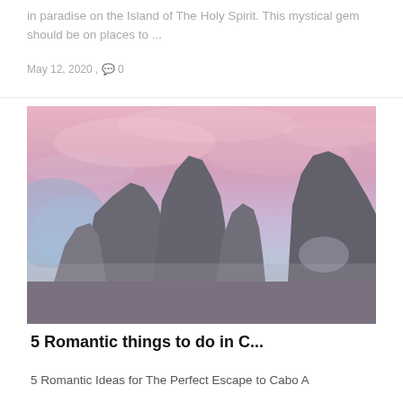in paradise on the Island of The Holy Spirit. This mystical gem should be on places to ...
May 12, 2020 , 💬 0
[Figure (photo): Dramatic rock formations silhouetted against a pink and purple sunset sky at a coastal location, with an arch rock visible on the right side. A dark circular scroll-to-top button overlays the bottom right corner.]
5 Romantic things to do in C...
5 Romantic Ideas for The Perfect Escape to Cabo A